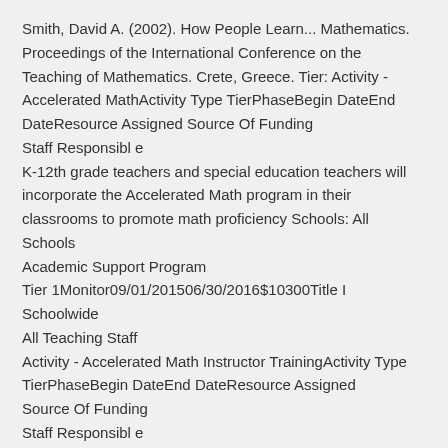Smith, David A. (2002). How People Learn... Mathematics. Proceedings of the International Conference on the Teaching of Mathematics. Crete, Greece. Tier: Activity - Accelerated MathActivity Type TierPhaseBegin DateEnd DateResource Assigned Source Of Funding Staff Responsibl e
K-12th grade teachers and special education teachers will incorporate the Accelerated Math program in their classrooms to promote math proficiency Schools: All Schools
Academic Support Program
Tier 1Monitor09/01/201506/30/2016$10300Title I Schoolwide
All Teaching Staff
Activity - Accelerated Math Instructor TrainingActivity Type TierPhaseBegin DateEnd DateResource Assigned Source Of Funding Staff Responsibl e
Staff development for teachers using Accelerated Math program. Schools: All Schools
Professiona l Learning
Monitor09/01/201506/30/2016$2450Title II Part A School Administrati on, Math Commitee
Activity - SAT Math Prep CourseActivity Type